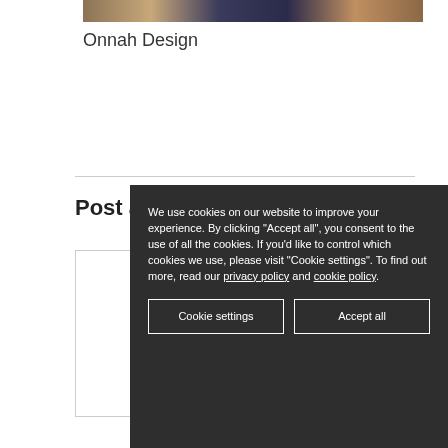[Figure (photo): Partial view of a decorative rug or textile with geometric black and white pattern, on a wooden floor]
Onnah Design
Post a
Write y...
We use cookies on our website to improve your experience. By clicking "Accept all", you consent to the use of all the cookies. If you'd like to control which cookies we use, please visit "Cookie settings". To find out more, read our privacy policy and cookie policy.
Cookie settings
Accept all